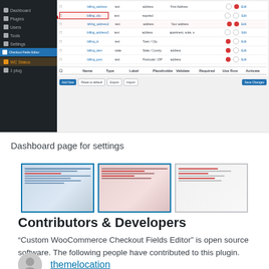[Figure (screenshot): WordPress admin dashboard screenshot showing a plugin settings page with a red box highlighting a tooltip/option label. A red arrow points to the highlighted element. The table lists various form field settings.]
Dashboard page for settings
[Figure (screenshot): Three thumbnail previews of the plugin dashboard screenshots]
Contributors & Developers
“Custom WooCommerce Checkout Fields Editor” is open source software. The following people have contributed to this plugin.
themelocation